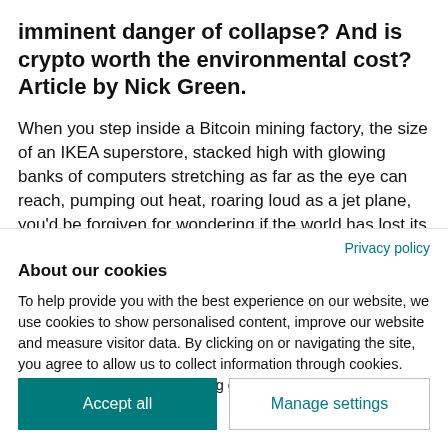imminent danger of collapse? And is crypto worth the environmental cost? Article by Nick Green.
When you step inside a Bitcoin mining factory, the size of an IKEA superstore, stacked high with glowing banks of computers stretching as far as the eye can reach, pumping out heat, roaring loud as a jet plane, you'd be forgiven for wondering if the world has lost its mind. Just
Privacy policy
About our cookies
To help provide you with the best experience on our website, we use cookies to show personalised content, improve our website and measure visitor data. By clicking on or navigating the site, you agree to allow us to collect information through cookies. You can learn more by checking our cookie policy.